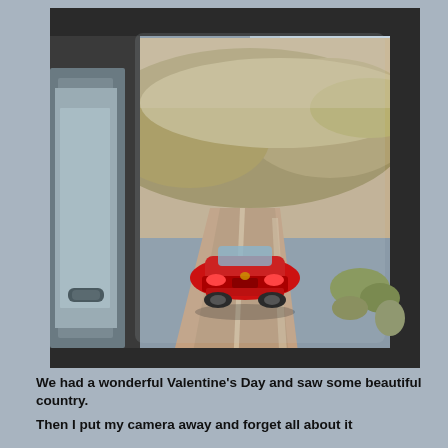[Figure (photo): View from inside a vehicle looking in the side mirror, showing a red convertible sports car (Chevrolet Corvette Stingray) following on a desert highway road, with arid scrubland and rocky terrain in the background. The vehicle's door and mirror frame are visible on the left side.]
We had a wonderful Valentine's Day and saw some beautiful country.
Then I put my camera away and forget all about it